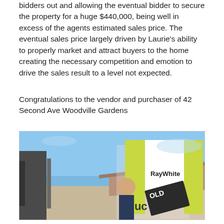bidders out and allowing the eventual bidder to secure the property for a huge $440,000, being well in excess of the agents estimated sales price. The eventual sales price largely driven by Laurie's ability to properly market and attract buyers to the home creating the necessary competition and emotion to drive the sales result to a level not expected.
Congratulations to the vendor and purchaser of 42 Second Ave Woodville Gardens
[Figure (photo): Photo of a person holding a Ray White auction/SOLD sign in front of a house with a blue sky background. The sign shows 'RayWhite' branding and 'AUC' and 'OLD' (auction sold) text.]